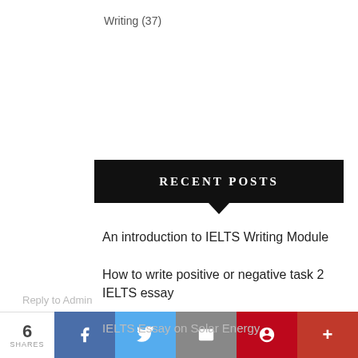Writing (37)
RECENT POSTS
An introduction to IELTS Writing Module
How to write positive or negative task 2 IELTS essay
IELTS Essay on Solar Energy
Admin from Dream IELTS
Confusing words: Hint for IELTS
How can we help? We're here for you!
Reply to Admin
6 SHARES